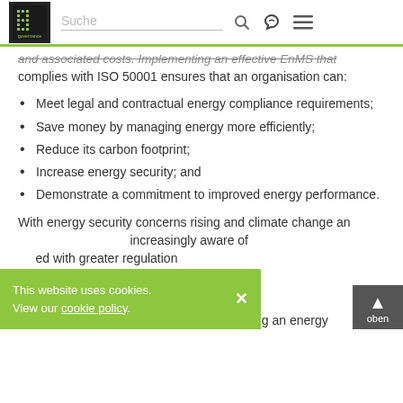IT Governance logo | Suche search bar | search icon | phone icon | menu icon
and associated costs. Implementing an effective EnMS that complies with ISO 50001 ensures that an organisation can:
Meet legal and contractual energy compliance requirements;
Save money by managing energy more efficiently;
Reduce its carbon footprint;
Increase energy security; and
Demonstrate a commitment to improved energy performance.
With energy security concerns rising and climate change an ... increasingly aware of ... ed with greater regulation... ns ISO 50001 should be on every board's agenda.
ISO 50001 – A strategic guide to establishing an energy ...